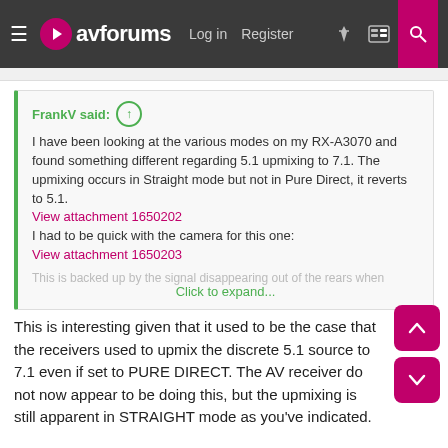avforums — Log in  Register
FrankV said: ↑
I have been looking at the various modes on my RX-A3070 and found something different regarding 5.1 upmixing to 7.1. The upmixing occurs in Straight mode but not in Pure Direct, it reverts to 5.1.
View attachment 1650202
I had to be quick with the camera for this one:
View attachment 1650203
This is backed up by the signal disappearing out of the rears when
Click to expand...
This is interesting given that it used to be the case that the receivers used to upmix the discrete 5.1 source to 7.1 even if set to PURE DIRECT. The AV receiver do not now appear to be doing this, but the upmixing is still apparent in STRAIGHT mode as you've indicated.